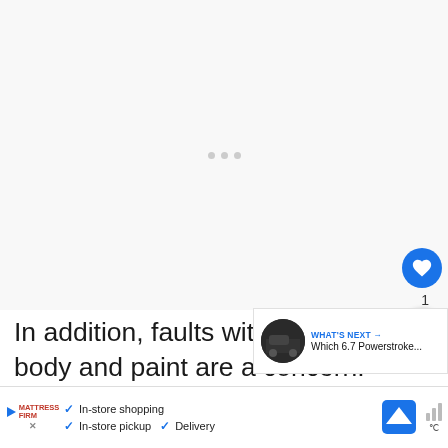[Figure (other): Large white/light gray placeholder area representing a video or image content space with three small gray dots in the center (carousel/loading indicator).]
In addition, faults with the vehicle's body and paint are a concern. Paint is flaking on the top and on the front, paint is flaking in
[Figure (screenshot): WHAT'S NEXT overlay with thumbnail of a truck and text: Which 6.7 Powerstroke...]
[Figure (other): Bottom advertisement banner: Mattress Firm logo with play button, checkmarks for In-store shopping, In-store pickup, Delivery, a blue navigation/map icon, and a weather icon.]